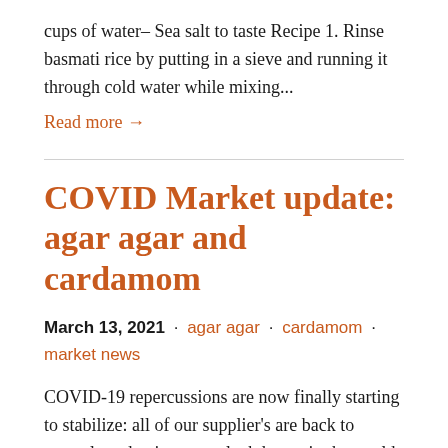cups of water– Sea salt to taste Recipe 1. Rinse basmati rice by putting in a sieve and running it through cold water while mixing...
Read more →
COVID Market update: agar agar and cardamom
March 13, 2021 · agar agar · cardamom · market news
COVID-19 repercussions are now finally starting to stabilize: all of our supplier's are back to normal production, most lockdowns in the world are now over / planned… the only problem is the